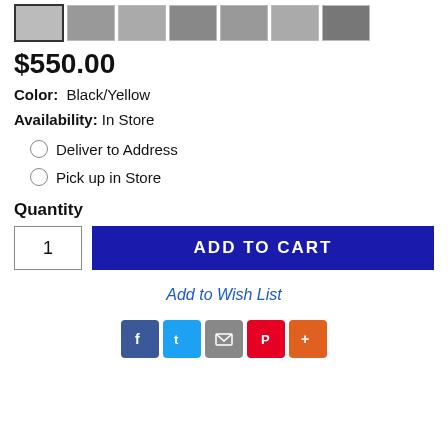[Figure (photo): Row of 7 product thumbnail images, first one selected with border]
$550.00
Color:  Black/Yellow
Availability:  In Store
Deliver to Address
Pick up in Store
Quantity
1
ADD TO CART
Add to Wish List
[Figure (infographic): Social share icons: Facebook, Twitter, Email, Pinterest, More]